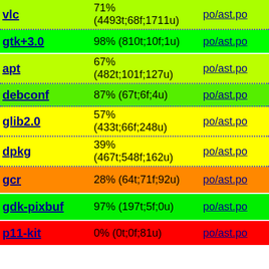| Package | Completion | File |
| --- | --- | --- |
| vlc | 71% (4493t;68f;1711u) | po/ast.po |
| gtk+3.0 | 98% (810t;10f;1u) | po/ast.po |
| apt | 67% (482t;101f;127u) | po/ast.po |
| debconf | 87% (67t;6f;4u) | po/ast.po |
| glib2.0 | 57% (433t;66f;248u) | po/ast.po |
| dpkg | 39% (467t;548f;162u) | po/ast.po |
| gcr | 28% (64t;71f;92u) | po/ast.po |
| gdk-pixbuf | 97% (197t;5f;0u) | po/ast.po |
| p11-kit | 0% (0t;0f;81u) | po/ast.po |